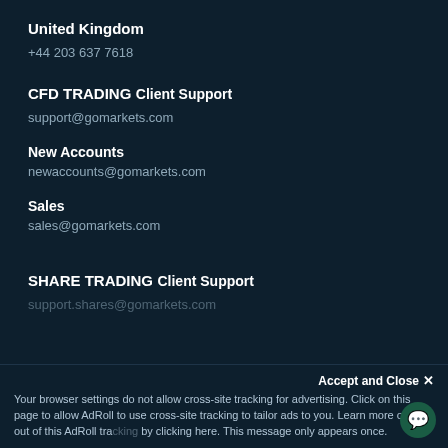United Kingdom
+44 203 637 7618
CFD TRADING
Client Support
support@gomarkets.com
New Accounts
newaccounts@gomarkets.com
Sales
sales@gomarkets.com
SHARE TRADING
Client Support
support.shares@gomarkets.com
Your browser settings do not allow cross-site tracking for advertising. Click on this page to allow AdRoll to use cross-site tracking to tailor ads to you. Learn more or opt out of this AdRoll tracking by clicking here. This message only appears once.